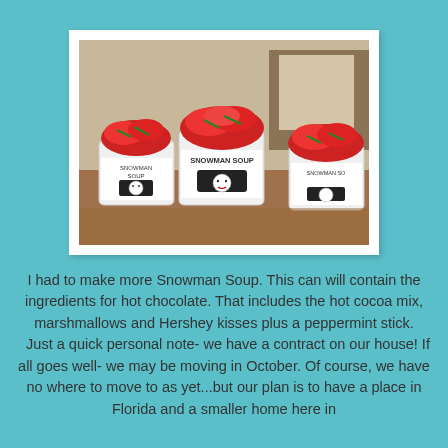[Figure (photo): Three small paint cans labeled 'Snowman Soup' with red and white festive candy/wrapping spilling out the top, sitting on a wooden table. Each can has a snowman graphic label and a metal handle.]
I had to make more Snowman Soup.  This can will contain the ingredients for hot chocolate.  That includes the hot cocoa mix, marshmallows and Hershey kisses plus a peppermint stick.
 Just a quick personal note- we have a contract on our house!  If all goes well- we may be moving in October.   Of course, we have no where to move to as  yet...but our plan is to have a place in Florida and a smaller home here in